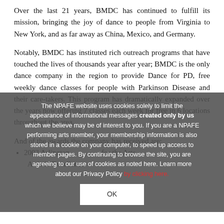Over the last 21 years, BMDC has continued to fulfill its mission, bringing the joy of dance to people from Virginia to New York, and as far away as China, Mexico, and Germany.
Notably, BMDC has instituted rich outreach programs that have touched the lives of thousands year after year; BMDC is the only dance company in the region to provide Dance for PD, free weekly dance classes for people with Parkinson Disease and their care-takers. This program has dramatically expanded over the years now offering 7 classes each week for free in 6 locations throughout the area.
The NPAFE website uses cookies solely to limit the appearance of informational messages created only by us which we believe may be of interest to you. If you are a NPAFE performing arts member, your membership information is also stored in a cookie on your computer, to speed up access to member pages. By continuing to browse the site, you are agreeing to our use of cookies as noted here. Learn more about our Privacy Policy by clicking here.
2003 Arlington [Award] for the Arts, Artistic Excellence